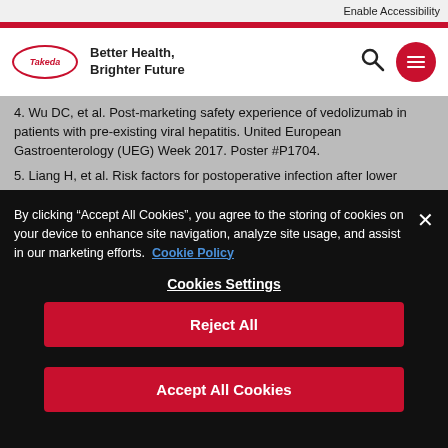Enable Accessibility
[Figure (logo): Takeda logo oval with text 'Better Health, Brighter Future' navigation bar with search and menu icons]
4. Wu DC, et al. Post-marketing safety experience of vedolizumab in patients with pre-existing viral hepatitis. United European Gastroenterology (UEG) Week 2017. Poster #P1704.
5. Liang H, et al. Risk factors for postoperative infection after lower
By clicking “Accept All Cookies”, you agree to the storing of cookies on your device to enhance site navigation, analyze site usage, and assist in our marketing efforts. Cookie Policy
Cookies Settings
Reject All
Accept All Cookies